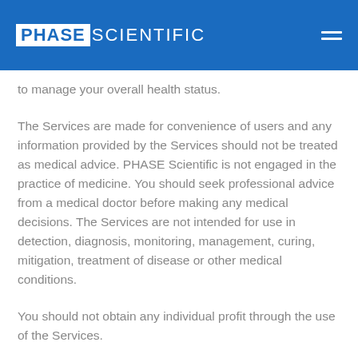PHASE SCIENTIFIC
to manage your overall health status.
The Services are made for convenience of users and any information provided by the Services should not be treated as medical advice. PHASE Scientific is not engaged in the practice of medicine. You should seek professional advice from a medical doctor before making any medical decisions. The Services are not intended for use in detection, diagnosis, monitoring, management, curing, mitigation, treatment of disease or other medical conditions.
You should not obtain any individual profit through the use of the Services.